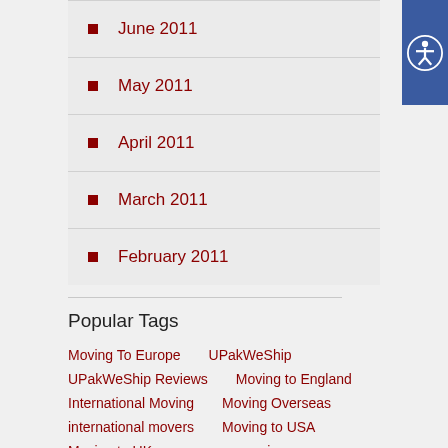June 2011
May 2011
April 2011
March 2011
February 2011
Popular Tags
Moving To Europe
UPakWeShip
UPakWeShip Reviews
Moving to England
International Moving
Moving Overseas
international movers
Moving to USA
Moving to UK
overseas moving